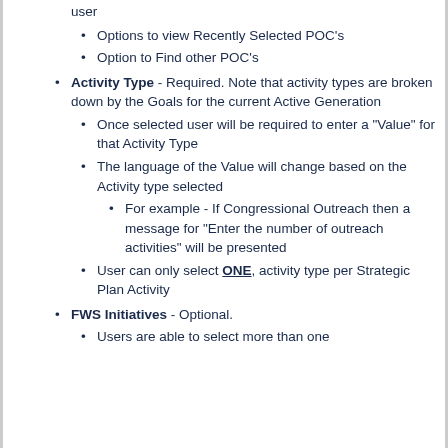user
Options to view Recently Selected POC's
Option to Find other POC's
Activity Type - Required. Note that activity types are broken down by the Goals for the current Active Generation
Once selected user will be required to enter a "Value" for that Activity Type
The language of the Value will change based on the Activity type selected
For example - If Congressional Outreach then a message for "Enter the number of outreach activities" will be presented
User can only select ONE, activity type per Strategic Plan Activity
FWS Initiatives - Optional.
Users are able to select more than one